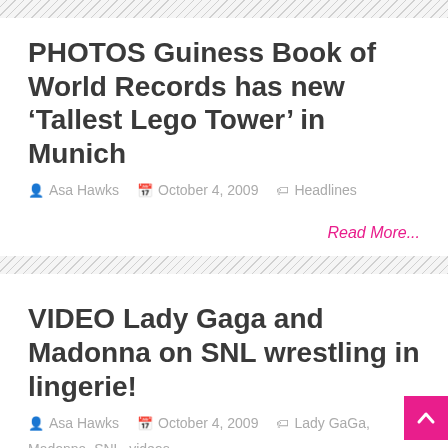PHOTOS Guiness Book of World Records has new ‘Tallest Lego Tower’ in Munich
Asa Hawks  October 4, 2009  Headlines
Read More...
VIDEO Lady Gaga and Madonna on SNL wrestling in lingerie!
Asa Hawks  October 4, 2009  Lady GaGa, Madonna, SNL, videos